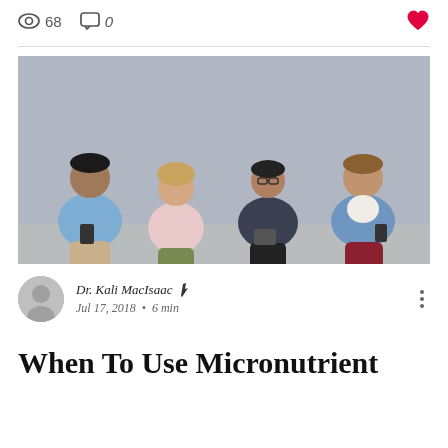68 views  0 comments
[Figure (photo): Four young adults sitting on chairs against a gray wall, each using a smartphone or tablet]
Dr. Kali MacIsaac  Jul 17, 2018  •  6 min
When To Use Micronutrient